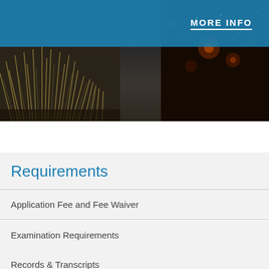[Figure (photo): Outdoor twilight scene with ornamental grasses and atmospheric lighting in the background, with a teal/blue overlay banner at top showing 'MORE INFO']
Requirements
Application Fee and Fee Waiver
Examination Requirements
Records & Transcripts